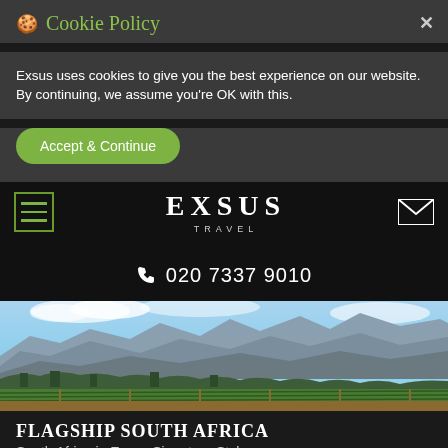🍪 Cookie Policy
Exsus uses cookies to give you the best experience on our website. By continuing, we assume you're OK with this.
Accept & Continue
[Figure (logo): EXSUS TRAVEL logo with hamburger menu icon on left and envelope icon on right, on black navigation bar]
020 7337 9010
[Figure (photo): Panoramic landscape photo of a South African vineyard with green vines in foreground, trees, and dramatic mountain range with rocky peaks under a blue sky with clouds]
FLAGSHIP SOUTH AFRICA
South Africa in Exsus Signature Style